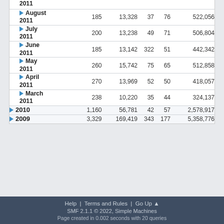| Period | Col1 | Col2 | Col3 | Col4 | Col5 |
| --- | --- | --- | --- | --- | --- |
| August 2011 | 185 | 13,328 | 37 | 76 | 522,056 |
| July 2011 | 200 | 13,238 | 49 | 71 | 506,804 |
| June 2011 | 185 | 13,142 | 322 | 51 | 442,342 |
| May 2011 | 260 | 15,742 | 75 | 65 | 512,858 |
| April 2011 | 270 | 13,969 | 52 | 50 | 418,057 |
| March 2011 | 238 | 10,220 | 35 | 44 | 324,137 |
| 2010 | 1,160 | 56,781 | 42 | 57 | 2,578,917 |
| 2009 | 3,329 | 169,419 | 343 | 177 | 5,358,776 |
Help | Terms and Rules | Go Up ▲
SMF 2.1.1 © 2022, Simple Machines
Page created in 0.002 seconds with 20 queries